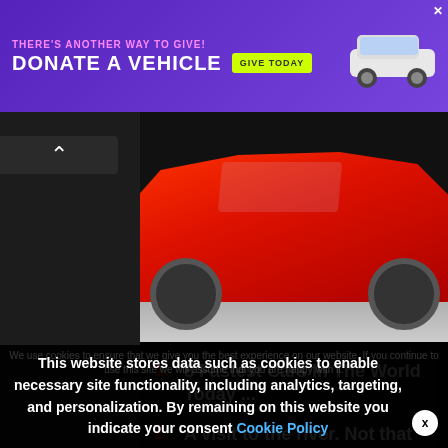[Figure (screenshot): Purple advertisement banner: THERE'S ANOTHER WAY TO GIVE! DONATE A VEHICLE with GIVE TODAY button and car illustration]
[Figure (photo): A red sports car photographed from the front-low angle, appears to be moving on a road]
1. 8 Fastest Cars In The World Today ...
2. A visit to the river. Not that ...
3. Probably my last day fishing for a ...
This website stores data such as cookies to enable necessary site functionality, including analytics, targeting, and personalization. By remaining on this website you indicate your consent Cookie Policy